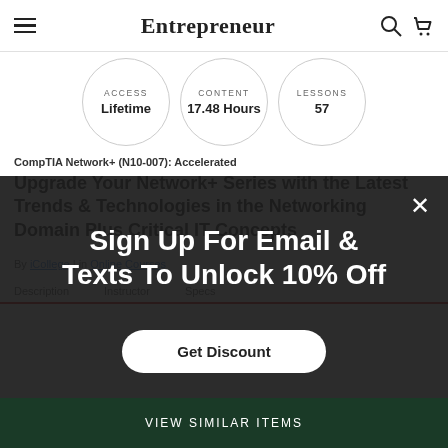Entrepreneur
ACCESS Lifetime | CONTENT 17.48 Hours | LESSONS 57
CompTIA Network+ (N10-007): Accelerated
Upgrade Your Network+ Series with the Latest Trends & Technologies in the Networking Domain Plus Critical IT Concepts
By iCollege | in Online Courses
Description  Instructor  Specs
Sign Up For Email & Texts To Unlock 10% Off
Get Discount
VIEW SIMILAR ITEMS